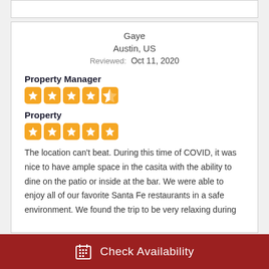Gaye
Austin, US
Reviewed: Oct 11, 2020
Property Manager
[Figure (other): 5 orange star rating icons (4 full stars, 1 half star) for Property Manager]
Property
[Figure (other): 5 orange star rating icons (5 full stars) for Property]
The location can't beat. During this time of COVID, it was nice to have ample space in the casita with the ability to dine on the patio or inside at the bar. We were able to enjoy all of our favorite Santa Fe restaurants in a safe environment. We found the trip to be very relaxing during
Check Availability